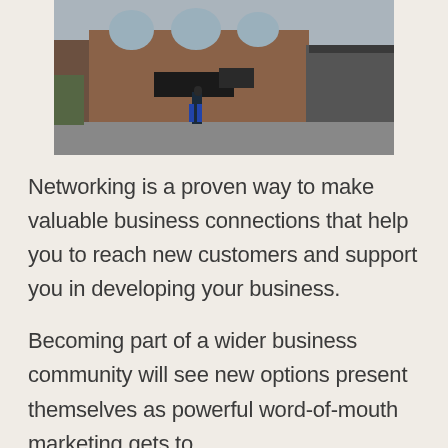[Figure (photo): Exterior photo of a brick building that appears to be a market or community hall, with arched windows, a sign on the front, and a covered canopy structure on the right. A person is visible walking in the foreground on a paved area.]
Networking is a proven way to make valuable business connections that help you to reach new customers and support you in developing your business.
Becoming part of a wider business community will see new options present themselves as powerful word-of-mouth marketing gets to